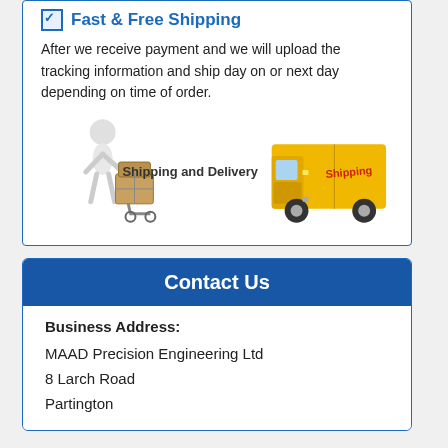Fast & Free Shipping
After we receive payment and we will upload the tracking information and ship day on or next day depending on time of order.
[Figure (illustration): Shipping and Delivery illustration showing a white figure pushing boxes on a dolly on the left, the text 'Shipping and Delivery' in the center, and a yellow DHL delivery truck on the right with 'Shipping' text on the side.]
Contact Us
Business Address:
MAAD Precision Engineering Ltd
8 Larch Road
Partington